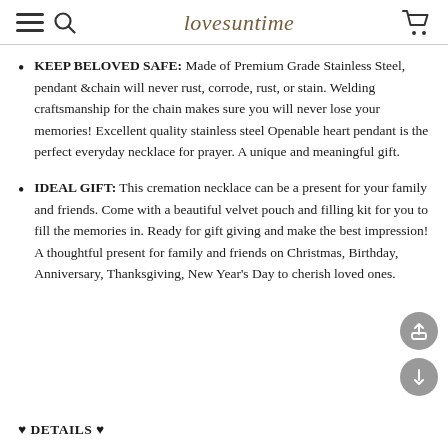lovesuntime
KEEP BELOVED SAFE: Made of Premium Grade Stainless Steel, pendant &chain will never rust, corrode, rust, or stain. Welding craftsmanship for the chain makes sure you will never lose your memories! Excellent quality stainless steel Openable heart pendant is the perfect everyday necklace for prayer. A unique and meaningful gift.
IDEAL GIFT: This cremation necklace can be a present for your family and friends. Come with a beautiful velvet pouch and filling kit for you to fill the memories in. Ready for gift giving and make the best impression! A thoughtful present for family and friends on Christmas, Birthday, Anniversary, Thanksgiving, New Year’s Day to cherish loved ones.
♥ DETAILS ♥